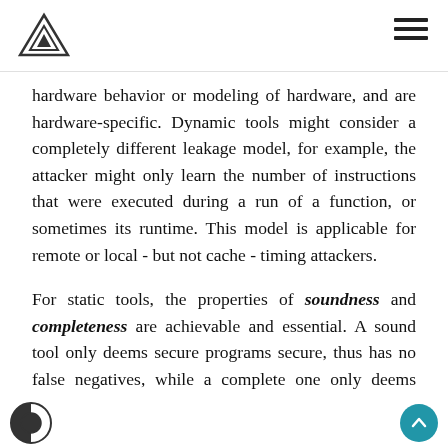hardware behavior or modeling of hardware, and are hardware-specific. Dynamic tools might consider a completely different leakage model, for example, the attacker might only learn the number of instructions that were executed during a run of a function, or sometimes its runtime. This model is applicable for remote or local - but not cache - timing attackers.
For static tools, the properties of soundness and completeness are achievable and essential. A sound tool only deems secure programs secure, thus has no false negatives, while a complete one only deems insecure programs insecure, thus has no false positives. Here I adopt the notion that the tool aims to detect the presence of timing leakage (positive result) and thus derive the false positive/negative notions as above. In the case